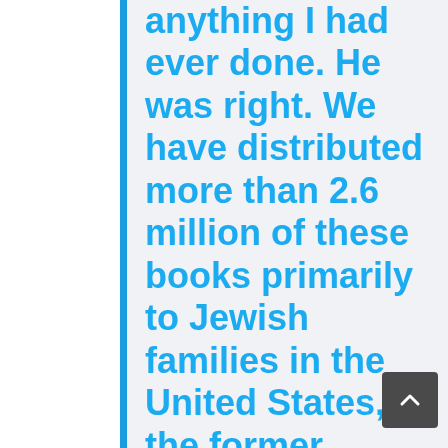anything I had ever done. He was right. We have distributed more than 2.6 million of these books primarily to Jewish families in the United States, the former